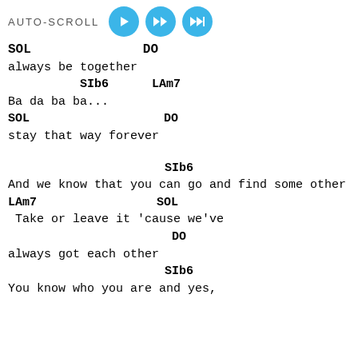[Figure (infographic): AUTO-SCROLL label with three blue circular play/fast-forward buttons]
SOL                    DO
always be together
SIb6      LAm7
Ba da ba ba...
SOL                         DO
stay that way forever
SIb6
And we know that you can go and find some other
LAm7                         SOL
Take or leave it 'cause we've
DO
always got each other
SIb6
You know who you are and yes,